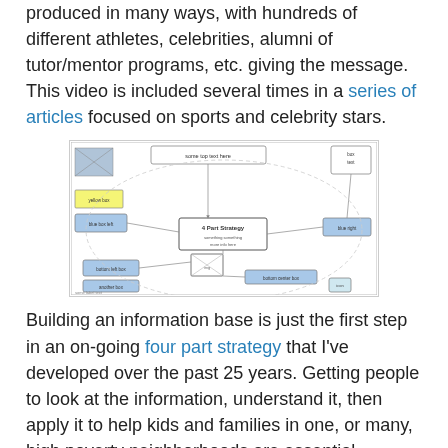produced in many ways, with hundreds of different athletes, celebrities, alumni of tutor/mentor programs, etc. giving the message.  This video is included several times in a series of articles focused on sports and celebrity stars.
[Figure (flowchart): A concept map or flowchart diagram showing a network of connected boxes and arrows representing a 4-part strategy, with various nodes connected by lines and arrows in an oval/circular arrangement.]
Building an information base is just the first step in an on-going four part strategy that I've developed over the past 25 years. Getting people to look at the information, understand it, then apply it to help kids and families in one, or many, high poverty neighborhoods are essential additional steps.
While I feel this strategy applies to Chicago, it can also be applied in any other urban area. It can have leaders from many sectors who share the same goals.  If you're interested in learning about this, devote time over the next few months